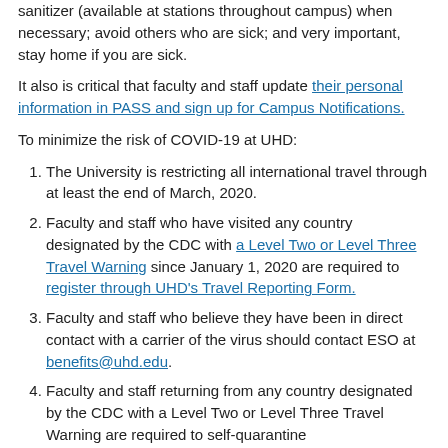sanitizer (available at stations throughout campus) when necessary; avoid others who are sick; and very important, stay home if you are sick.
It also is critical that faculty and staff update their personal information in PASS and sign up for Campus Notifications.
To minimize the risk of COVID-19 at UHD:
The University is restricting all international travel through at least the end of March, 2020.
Faculty and staff who have visited any country designated by the CDC with a Level Two or Level Three Travel Warning since January 1, 2020 are required to register through UHD’s Travel Reporting Form.
Faculty and staff who believe they have been in direct contact with a carrier of the virus should contact ESO at benefits@uhd.edu.
Faculty and staff returning from any country designated by the CDC with a Level Two or Level Three Travel Warning are required to self-quarantine